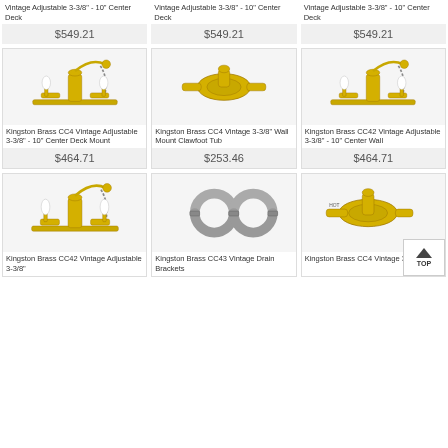[Figure (photo): Product grid showing Kingston Brass vintage clawfoot tub faucets and related products]
Vintage Adjustable 3-3/8" - 10" Center Deck
$549.21
Vintage Adjustable 3-3/8" - 10" Center Deck
$549.21
Vintage Adjustable 3-3/8" - 10" Center Deck
$549.21
[Figure (photo): Kingston Brass CC4 brass deck mount clawfoot tub faucet with shower head and porcelain handles]
Kingston Brass CC4 Vintage Adjustable 3-3/8" - 10" Center Deck Mount
$464.71
[Figure (photo): Kingston Brass CC4 brass wall mount clawfoot tub faucet]
Kingston Brass CC4 Vintage 3-3/8" Wall Mount Clawfoot Tub
$253.46
[Figure (photo): Kingston Brass CC42 brass deck mount clawfoot tub faucet with shower and porcelain handles]
Kingston Brass CC42 Vintage Adjustable 3-3/8" - 10" Center Wall
$464.71
[Figure (photo): Kingston Brass CC42 brass deck mount faucet with hand shower]
Kingston Brass CC42 Vintage Adjustable 3-3/8"
[Figure (photo): Kingston Brass CC43 drain brackets/pipe clamps in chrome]
Kingston Brass CC43 Vintage Drain Brackets
[Figure (photo): Kingston Brass CC4 brass wall mount faucet]
Kingston Brass CC4 Vintage 3-3/8" Wall